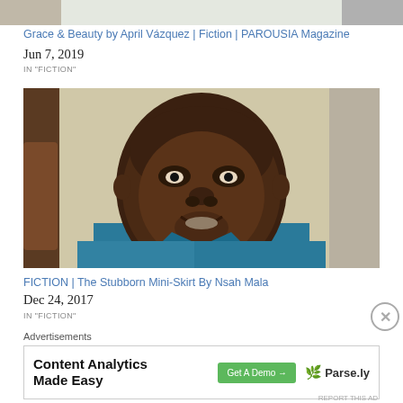[Figure (photo): Partial top images — three cropped thumbnail images in a row at top of page]
Grace & Beauty by April Vázquez | Fiction | PAROUSIA Magazine
Jun 7, 2019
IN "FICTION"
[Figure (photo): Close-up portrait photo of a smiling Black man in a blue jacket]
FICTION | The Stubborn Mini-Skirt By Nsah Mala
Dec 24, 2017
IN "FICTION"
Advertisements
[Figure (screenshot): Advertisement banner: Content Analytics Made Easy — Get A Demo button — Parse.ly logo]